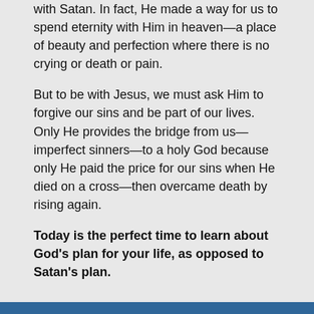with Satan. In fact, He made a way for us to spend eternity with Him in heaven—a place of beauty and perfection where there is no crying or death or pain.
But to be with Jesus, we must ask Him to forgive our sins and be part of our lives. Only He provides the bridge from us—imperfect sinners—to a holy God because only He paid the price for our sins when He died on a cross—then overcame death by rising again.
Today is the perfect time to learn about God's plan for your life, as opposed to Satan's plan.
Step 1 – God's Purpose: Peace and Life
God loves you and wants you to experience peace and eternal life.